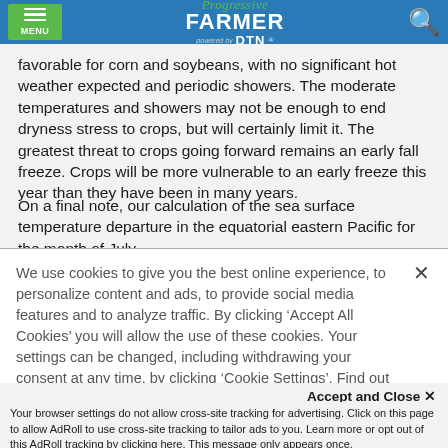MENU | Progressive FARMER powered by DTN
favorable for corn and soybeans, with no significant hot weather expected and periodic showers. The moderate temperatures and showers may not be enough to end dryness stress to crops, but will certainly limit it. The greatest threat to crops going forward remains an early fall freeze. Crops will be more vulnerable to an early freeze this year than they have been in many years.
On a final note, our calculation of the sea surface temperature departure in the equatorial eastern Pacific for the month of July
We use cookies to give you the best online experience, to personalize content and ads, to provide social media features and to analyze traffic. By clicking ‘Accept All Cookies’ you will allow the use of these cookies. Your settings can be changed, including withdrawing your consent at any time, by clicking ‘Cookie Settings’. Find out more on how we and third parties use cookies in our  Cookie Policy
Accept and Close ×
Your browser settings do not allow cross-site tracking for advertising. Click on this page to allow AdRoll to use cross-site tracking to tailor ads to you. Learn more or opt out of this AdRoll tracking by clicking here. This message only appears once.